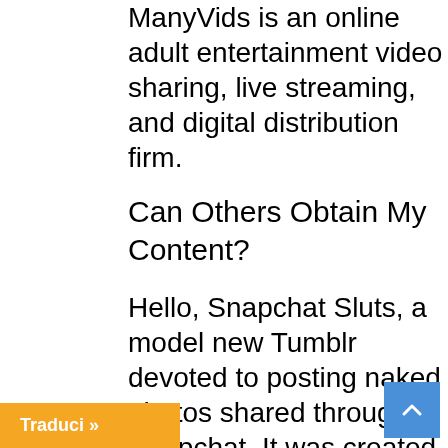ManyVids is an online adult entertainment video sharing, live streaming, and digital distribution firm.
Can Others Obtain My Content?
Hello, Snapchat Sluts, a model new Tumblr devoted to posting naked photos shared through Snapchat. It was created, according to